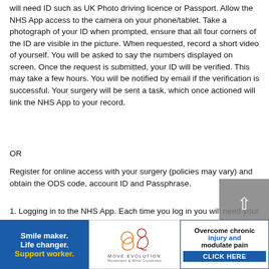will need ID such as UK Photo driving licence or Passport. Allow the NHS App access to the camera on your phone/tablet. Take a photograph of your ID when prompted, ensure that all four corners of the ID are visible in the picture. When requested, record a short video of yourself. You will be asked to say the numbers displayed on screen. Once the request is submitted, your ID will be verified. This may take a few hours. You will be notified by email if the verification is successful. Your surgery will be sent a task, which once actioned will link the NHS App to your record.
OR
Register for online access with your surgery (policies may vary) and obtain the ODS code, account ID and Passphrase.
1. Logging in to the NHS App. Each time you log in you will need your email address and the password you set (NOT
[Figure (infographic): Three advertisement banners at the bottom of the page. Left: Blue background with white bold text 'Smile maker. Life changer.' and yellow bold text 'Support worker.' Middle: White background with Move Evolution logo (abstract head/ball design) and text 'MOVE EVOLUTION Movement & Mind Combined'. Right: White background with blue border, black text 'Overcome chronic injury and modulate pain' and blue bar with white text 'CLICK HERE'.]